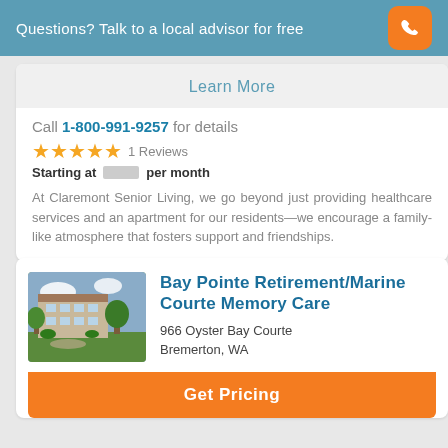Questions? Talk to a local advisor for free
Learn More
Call 1-800-991-9257 for details
★★★★★ 1 Reviews
Starting at [redacted] per month
At Claremont Senior Living, we go beyond just providing healthcare services and an apartment for our residents—we encourage a family-like atmosphere that fosters support and friendships.
[Figure (photo): Exterior photo of Bay Pointe Retirement/Marine Courte Memory Care facility]
Bay Pointe Retirement/Marine Courte Memory Care
966 Oyster Bay Courte
Bremerton, WA
Get Pricing